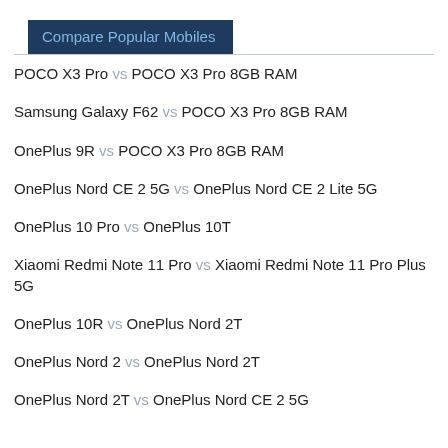Compare Popular Mobiles
POCO X3 Pro vs POCO X3 Pro 8GB RAM
Samsung Galaxy F62 vs POCO X3 Pro 8GB RAM
OnePlus 9R vs POCO X3 Pro 8GB RAM
OnePlus Nord CE 2 5G vs OnePlus Nord CE 2 Lite 5G
OnePlus 10 Pro vs OnePlus 10T
Xiaomi Redmi Note 11 Pro vs Xiaomi Redmi Note 11 Pro Plus 5G
OnePlus 10R vs OnePlus Nord 2T
OnePlus Nord 2 vs OnePlus Nord 2T
OnePlus Nord 2T vs OnePlus Nord CE 2 5G